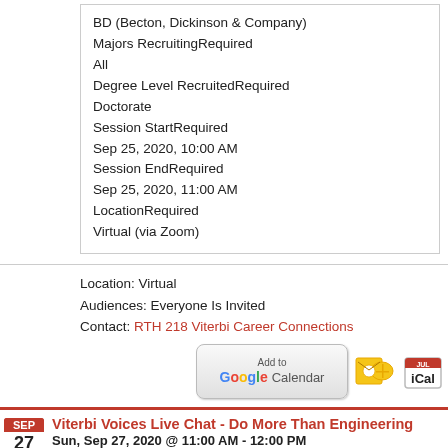BD (Becton, Dickinson & Company)
Majors RecruitingRequired
All
Degree Level RecruitedRequired
Doctorate
Session StartRequired
Sep 25, 2020, 10:00 AM
Session EndRequired
Sep 25, 2020, 11:00 AM
LocationRequired
Virtual (via Zoom)
Location: Virtual
Audiences: Everyone Is Invited
Contact: RTH 218 Viterbi Career Connections
[Figure (screenshot): Add to Google Calendar button, Outlook calendar icon, and iCal icon]
Viterbi Voices Live Chat - Do More Than Engineering
Sun, Sep 27, 2020 @ 11:00 AM - 12:00 PM
Viterbi School of Engineering Undergraduate Admission Workshops & Infosessions
Join us for this student-hosted live chat! During this hour...